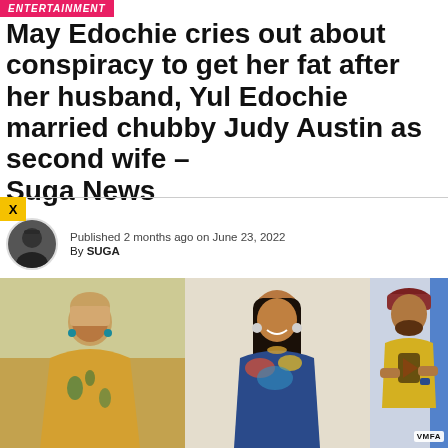ENTERTAINMENT
May Edochie cries out about conspiracy to get her fat after her husband, Yul Edochie married chubby Judy Austin as second wife – Suga News
Published 2 months ago on June 23, 2022
By SUGA
[Figure (photo): Three photos side by side: left shows May Edochie in a yellow/teal patterned dress outdoors; center shows Judy Austin in a colorful off-shoulder outfit smiling; right shows Yul Edochie in a yellow graphic t-shirt and dark red headwear with VMFA watermark.]